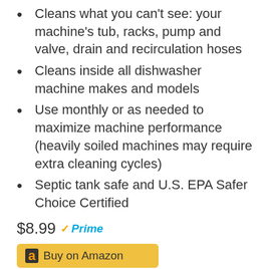Cleans what you can't see: your machine's tub, racks, pump and valve, drain and recirculation hoses
Cleans inside all dishwasher machine makes and models
Use monthly or as needed to maximize machine performance (heavily soiled machines may require extra cleaning cycles)
Septic tank safe and U.S. EPA Safer Choice Certified
$8.99 ✓Prime
Buy on Amazon